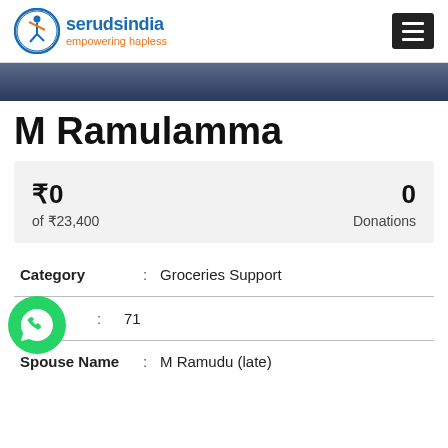[Figure (logo): Seruds India logo with circular icon of person jumping and text 'serudsindia empowering hapless']
[Figure (photo): Dark background photo strip, partial view of a person]
M Ramulamma
₹0 of ₹23,400 | 0 Donations
| Field | : | Value |
| --- | --- | --- |
| Category | : | Groceries Support |
| Age | : | 71 |
| Spouse Name | : | M Ramudu (late) |
[Figure (logo): WhatsApp green circular icon]